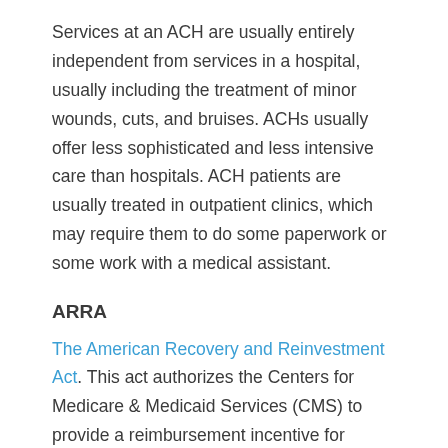Services at an ACH are usually entirely independent from services in a hospital, usually including the treatment of minor wounds, cuts, and bruises. ACHs usually offer less sophisticated and less intensive care than hospitals. ACH patients are usually treated in outpatient clinics, which may require them to do some paperwork or some work with a medical assistant.
ARRA
The American Recovery and Reinvestment Act. This act authorizes the Centers for Medicare & Medicaid Services (CMS) to provide a reimbursement incentive for physician and hospital providers who